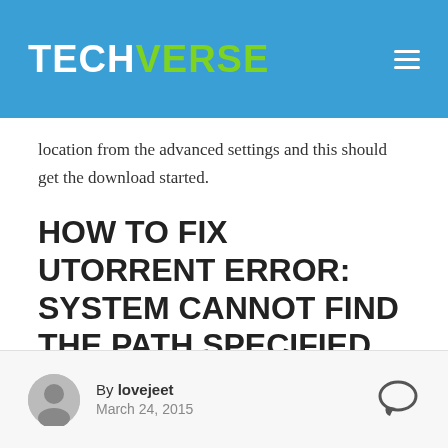TECHVERSE
location from the advanced settings and this should get the download started.
HOW TO FIX UTORRENT ERROR: SYSTEM CANNOT FIND THE PATH SPECIFIED (WRITE TO DISK)
Here's how you can fix the Error: System cannot find the path specified (write to disk) on utorrent.
By lovejeet
March 24, 2015